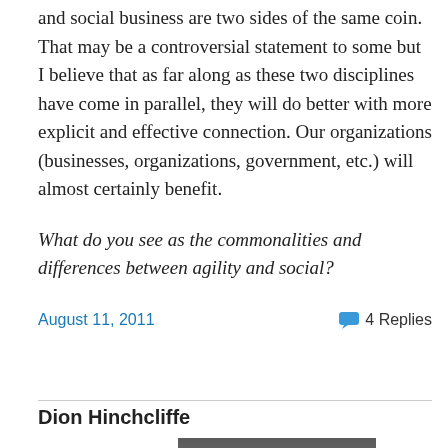and social business are two sides of the same coin. That may be a controversial statement to some but I believe that as far along as these two disciplines have come in parallel, they will do better with more explicit and effective connection. Our organizations (businesses, organizations, government, etc.) will almost certainly benefit.
What do you see as the commonalities and differences between agility and social?
August 11, 2011
4 Replies
Dion Hinchcliffe
[Figure (photo): Portrait photo of Dion Hinchcliffe, partially visible, showing the top portion of a person's face/head]